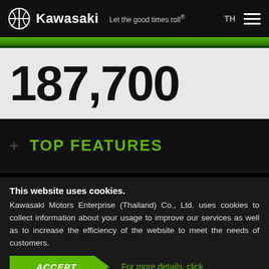Kawasaki — Let the good times roll®
187,700
+ TOP FEATURES
This website uses cookies. Kawasaki Motors Enterprise (Thailand) Co., Ltd. uses cookies to collect information about your usage to improve our services as well as to increase the efficiency of the website to meet the needs of customers.
ACCEPT    For more details, click